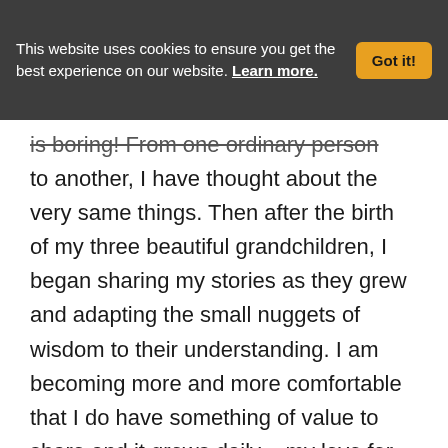This website uses cookies to ensure you get the best experience on our website. Learn more. Got it!
is boring!  From one ordinary person to another, I have thought about the very same things.  Then after the birth of my three beautiful grandchildren, I began sharing my stories as they grew and adapting the small nuggets of wisdom to their understanding.  I am becoming more and more comfortable that I do have something of value to share and it grows daily – my love for them inspires me constantly.  I love listening to all of their experiences in life, school, and believe me, I learn so much from them, as they do from me.